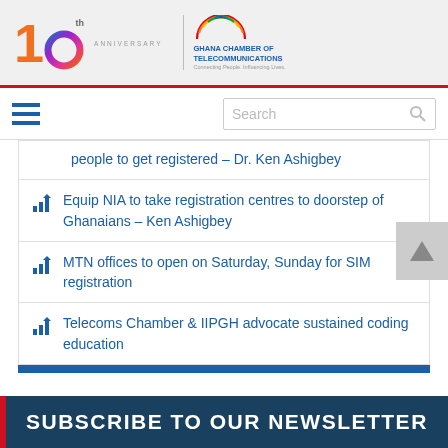[Figure (logo): Ghana Chamber of Telecommunications 10th Anniversary logo with rainbow circular logo]
people to get registered – Dr. Ken Ashigbey
Equip NIA to take registration centres to doorstep of Ghanaians – Ken Ashigbey
MTN offices to open on Saturday, Sunday for SIM registration
Telecoms Chamber & IIPGH advocate sustained coding education
SUBSCRIBE TO OUR NEWSLETTER